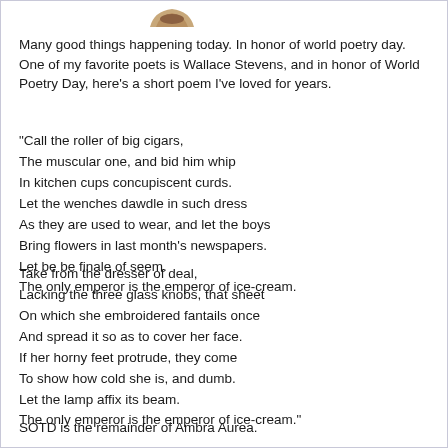[Figure (photo): Partial profile picture showing bottom portion of a round avatar image at top center of the page]
Many good things happening today. In honor of world poetry day. One of my favorite poets is Wallace Stevens, and in honor of World Poetry Day, here’s a short poem I’ve loved for years.
“Call the roller of big cigars,
The muscular one, and bid him whip
In kitchen cups concupiscent curds.
Let the wenches dawdle in such dress
As they are used to wear, and let the boys
Bring flowers in last month’s newspapers.
Let be be finale of seem.
The only emperor is the emperor of ice-cream.

Take from the dresser of deal,
Lacking the three glass knobs, that sheet
On which she embroidered fantails once
And spread it so as to cover her face.
If her horny feet protrude, they come
To show how cold she is, and dumb.
Let the lamp affix its beam.
The only emperor is the emperor of ice-cream.”
SOTD is the remainder of Ambra Aurea.